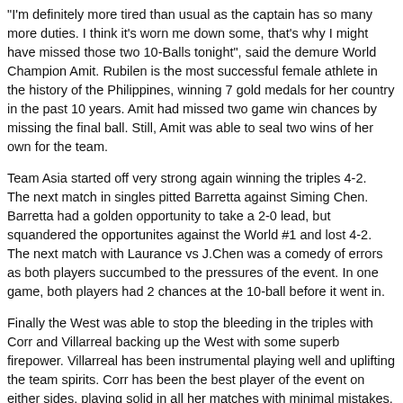"I'm definitely more tired than usual as the captain has so many more duties. I think it's worn me down some, that's why I might have missed those two 10-Balls tonight", said the demure World Champion Amit. Rubilen is the most successful female athlete in the history of the Philippines, winning 7 gold medals for her country in the past 10 years. Amit had missed two game win chances by missing the final ball. Still, Amit was able to seal two wins of her own for the team.
Team Asia started off very strong again winning the triples 4-2.  The next match in singles pitted Barretta against Siming Chen. Barretta had a golden opportunity to take a 2-0 lead, but squandered the opportunites against the World #1 and lost 4-2. The next match with Laurance vs J.Chen was a comedy of errors as both players succumbed to the pressures of the event. In one game, both players had 2 chances at the 10-ball before it went in.
Finally the West was able to stop the bleeding in the triples with Corr and Villarreal backing up the West with some superb firepower. Villarreal has been instrumental playing well and uplifting the team spirits. Corr has been the best player of the event on either sides, playing solid in all her matches with minimal mistakes.
Corr and Barretta were not able to take advantage of the momentum stoppage with Barretta again missing some golden opportunities against Amit & Siming Chen.